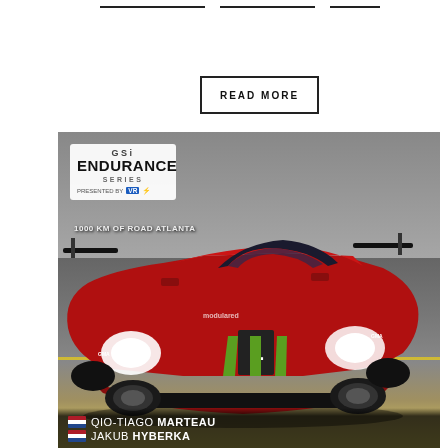— — —
READ MORE
[Figure (photo): GSi Endurance Series presented by VR, 1000 KM of Road Atlanta promotional image featuring a red LMP racing car #1 on track, with driver names QIO-TIAGO MARTEAU and JAKUB HYBERKA listed at the bottom with Netherlands flags]
QIO-TIAGO MARTEAU | JAKUB HYBERKA